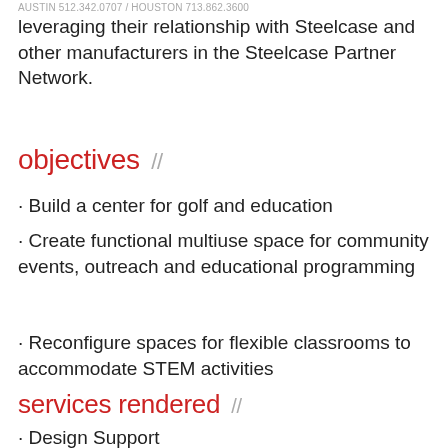AUSTIN 512.342.0707 / HOUSTON 713.862.3600
leveraging their relationship with Steelcase and other manufacturers in the Steelcase Partner Network.
objectives //
· Build a center for golf and education
· Create functional multiuse space for community events, outreach and educational programming
· Reconfigure spaces for flexible classrooms to accommodate STEM activities
services rendered //
· Design Support